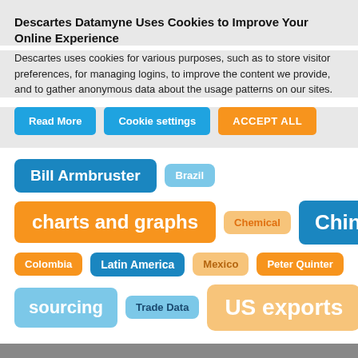Descartes Datamyne Uses Cookies to Improve Your Online Experience
Descartes uses cookies for various purposes, such as to store visitor preferences, for managing logins, to improve the content we provide, and to gather anonymous data about the usage patterns on our sites.
Read More
Cookie settings
ACCEPT ALL
[Figure (infographic): Tag cloud with various trade-related tags in blue and orange pill shapes of varying sizes: Bill Armbruster, Brazil, charts and graphs, Chemical, China, Colombia, Latin America, Mexico, Peter Quinter, sourcing, Trade Data, US exports]